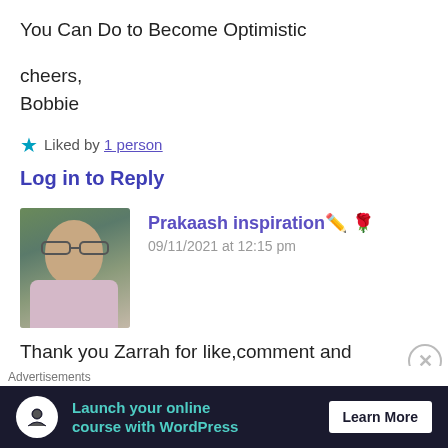You Can Do to Become Optimistic
cheers,
Bobbie
★ Liked by 1 person
Log in to Reply
Prakaash inspiration 🖊️ 🌹
09/11/2021 at 12:15 pm
Thank you Zarrah for like,comment and wonderful time.Your words mean lot to me.Thank you and have a nice day.I will surely
Advertisements
[Figure (other): Advertisement banner: Launch your online course with WordPress — Learn More]